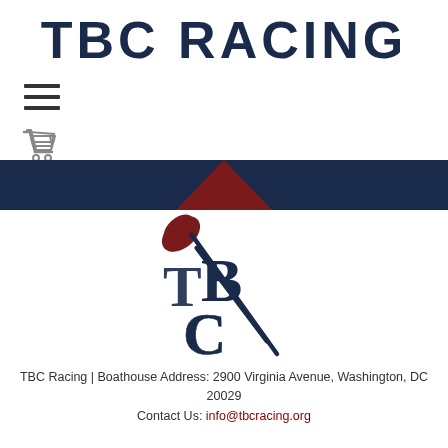TBC RACING
[Figure (logo): Hamburger menu icon (three horizontal lines)]
[Figure (illustration): Shopping cart icon]
[Figure (illustration): Dark navy banner with dark red triangle shape in center]
[Figure (logo): TBC Racing rowing club logo: interlocked letters T, B, C with an oar diagonal through them, dark navy and dark red colors]
TBC Racing | Boathouse Address: 2900 Virginia Avenue, Washington, DC 20029
Contact Us: info@tbcracing.org